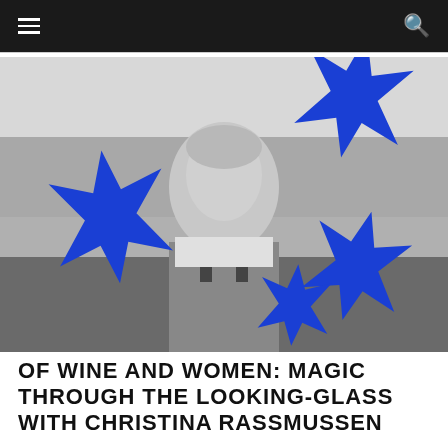≡  🔍
[Figure (photo): Black and white photograph of a blonde woman smiling outdoors in a vineyard or field, wearing overalls and a white t-shirt, with decorative blue star/starburst shapes overlaid on the image]
OF WINE AND WOMEN: MAGIC THROUGH THE LOOKING-GLASS WITH CHRISTINA RASSMUSSEN